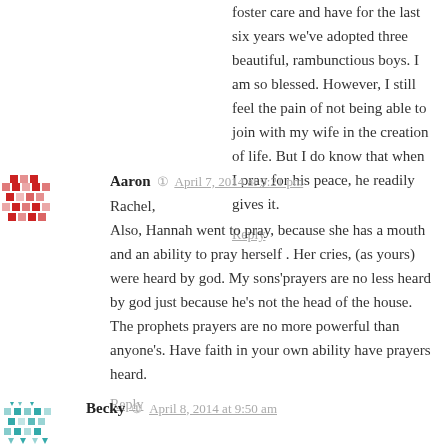foster care and have for the last six years we've adopted three beautiful, rambunctious boys. I am so blessed. However, I still feel the pain of not being able to join with my wife in the creation of life. But I do know that when I pray for his peace, he readily gives it.
Reply
Aaron  April 7, 2014 at 9:21 pm
Rachel,
Also, Hannah went to pray, because she has a mouth and an ability to pray herself . Her cries, (as yours) were heard by god. My sons'prayers are no less heard by god just because he's not the head of the house. The prophets prayers are no more powerful than anyone's. Have faith in your own ability have prayers heard.
Reply
Becky  April 8, 2014 at 9:50 am